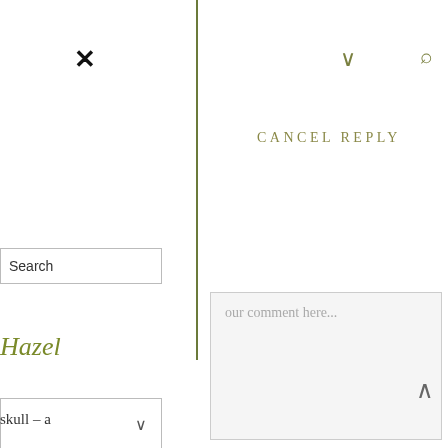[Figure (screenshot): Website UI screenshot showing a cancel reply form overlay with navigation icons, search button, comment textarea, dropdown, Hazel heading, and page content fragment]
×
∨
🔍
CANCEL REPLY
Search
our comment here...
∨
Hazel
∧
skull – a